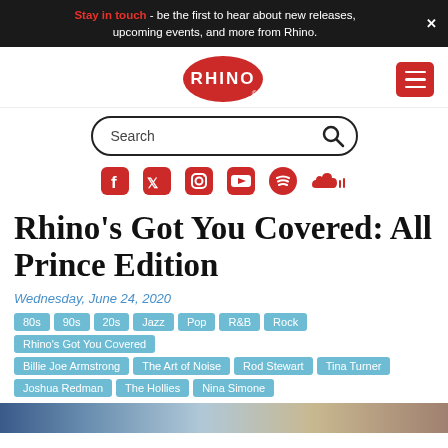Stay in touch - be the first to hear about new releases, upcoming events, and more from Rhino.
[Figure (logo): Rhino Records red oval logo with white RHINO text]
[Figure (infographic): Search bar with magnifying glass icon]
[Figure (infographic): Social media icons: Facebook, Twitter, Instagram, YouTube, Spotify, SoundCloud in red]
Rhino’s Got You Covered: All Prince Edition
Wednesday, June 24, 2020
80s
90s
20s
Jazz
Pop
R&B
Rock
Rhino’s Got You Covered
Billie Joe Armstrong
The Art of Noise
Rod Stewart
Tina Turner
Joshua Redman
The Hollies
Nina Simone
[Figure (photo): Bottom edge of an article image, partially visible]